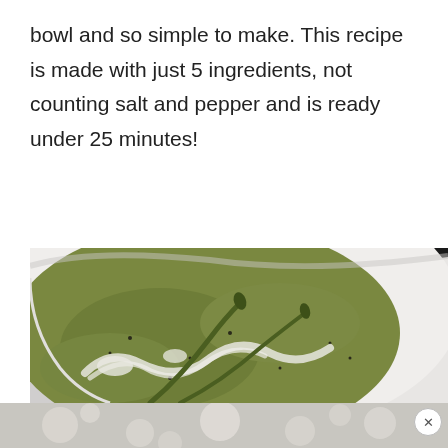bowl and so simple to make. This recipe is made with just 5 ingredients, not counting salt and pepper and is ready under 25 minutes!
[Figure (photo): Close-up photo of a white enamel bowl with black rim containing creamy green asparagus soup garnished with asparagus spears and a drizzle of cream, on a white marble surface.]
[Figure (photo): Bottom strip of a blurred/bokeh food photo, light background with circular bokeh highlights, with a circular close button (X) in the bottom right.]